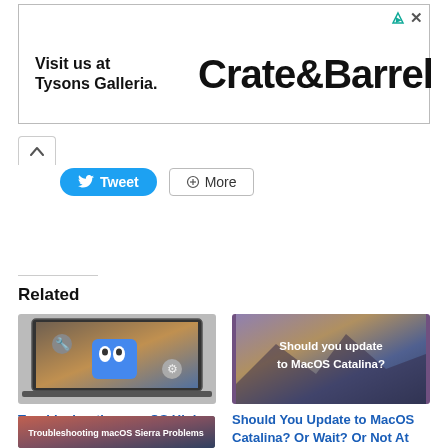[Figure (photo): Crate & Barrel advertisement banner: 'Visit us at Tysons Galleria. Crate&Barrel']
Tweet
More
Related
[Figure (photo): Laptop showing macOS Finder icon with wrench/tool icons - Troubleshooting macOS High Sierra Problems thumbnail]
Troubleshooting macOS High Sierra Problems
[Figure (photo): MacOS Catalina wallpaper with text 'Should you update to MacOS Catalina?']
Should You Update to MacOS Catalina? Or Wait? Or Not At All?
[Figure (photo): Troubleshooting macOS Sierra Problems thumbnail image]